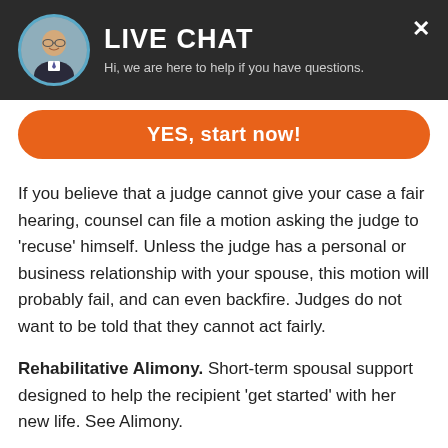[Figure (other): Live chat widget header with avatar photo of a man, 'LIVE CHAT' title, subtitle text, and a close X button]
Hi, we are here to help if you have questions.
YES, start now!
If you believe that a judge cannot give your case a fair hearing, counsel can file a motion asking the judge to 'recuse' himself. Unless the judge has a personal or business relationship with your spouse, this motion will probably fail, and can even backfire. Judges do not want to be told that they cannot act fairly.
Rehabilitative Alimony. Short-term spousal support designed to help the recipient 'get started' with her new life. See Alimony.